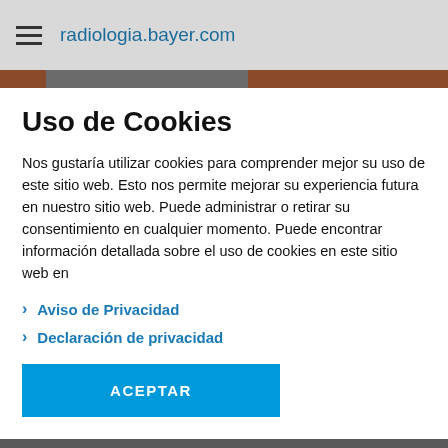radiologia.bayer.com
Uso de Cookies
Nos gustaría utilizar cookies para comprender mejor su uso de este sitio web. Esto nos permite mejorar su experiencia futura en nuestro sitio web. Puede administrar o retirar su consentimiento en cualquier momento. Puede encontrar información detallada sobre el uso de cookies en este sitio web en
Aviso de Privacidad
Declaración de privacidad
ACEPTAR
un reclamo técnico de producto asociado a un producto Bayer, por favor siga las siguientes instrucciones